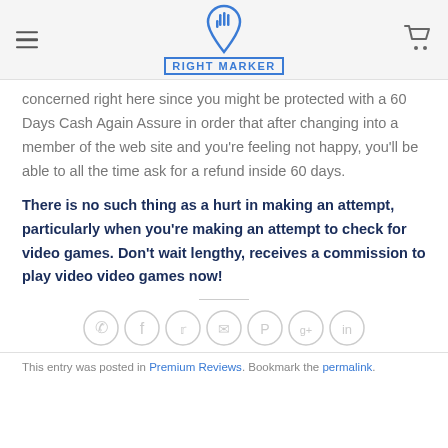RIGHT MARKER
concerned right here since you might be protected with a 60 Days Cash Again Assure in order that after changing into a member of the web site and you're feeling not happy, you'll be able to all the time ask for a refund inside 60 days.
There is no such thing as a hurt in making an attempt, particularly when you're making an attempt to check for video games. Don't wait lengthy, receives a commission to play video video games now!
[Figure (infographic): Social sharing icons: phone, facebook, twitter, email, pinterest, google+, linkedin]
This entry was posted in Premium Reviews. Bookmark the permalink.